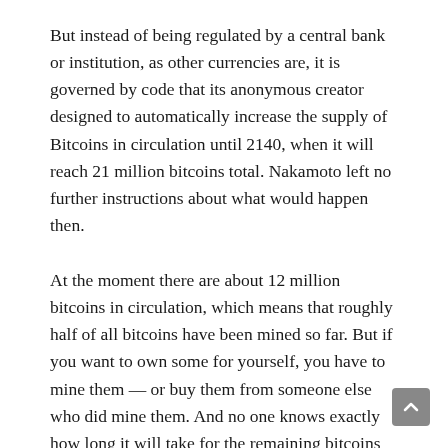But instead of being regulated by a central bank or institution, as other currencies are, it is governed by code that its anonymous creator designed to automatically increase the supply of Bitcoins in circulation until 2140, when it will reach 21 million bitcoins total. Nakamoto left no further instructions about what would happen then.
At the moment there are about 12 million bitcoins in circulation, which means that roughly half of all bitcoins have been mined so far. But if you want to own some for yourself, you have to mine them — or buy them from someone else who did mine them. And no one knows exactly how long it will take for the remaining bitcoins to be mined. It could take decades — or less than a year.
“The rate of block creation is adjusting to yield an average block interval target of 10 minutes,” according to the website Cryptocoin News, which explains